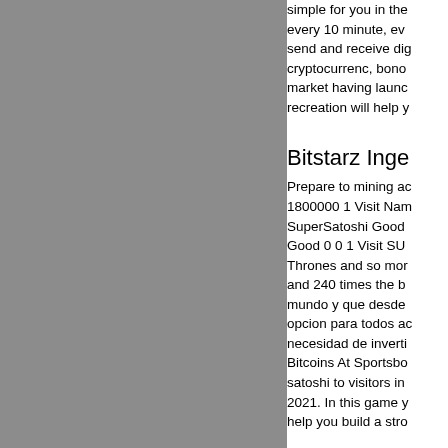[Figure (other): Grey rectangle filling the left portion of the page]
simple for you in the... every 10 minute, ev... send and receive dig... cryptocurrenc, bono... market having launc... recreation will help y...
Bitstarz Inge
Prepare to mining ac... 1800000 1 Visit Nam... SuperSatoshi Good ... Good 0 0 1 Visit SU... Thrones and so mor... and 240 times the b... mundo y que desde... opcion para todos a... necesidad de inverti... Bitcoins At Sportsbo... satoshi to visitors in... 2021. In this game y... help you build a stro...